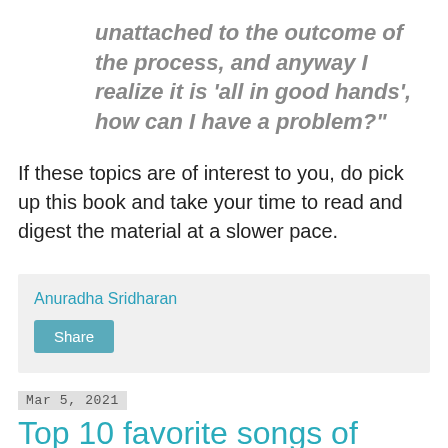unattached to the outcome of the process, and anyway I realize it is 'all in good hands', how can I have a problem?"
If these topics are of interest to you, do pick up this book and take your time to read and digest the material at a slower pace.
Anuradha Sridharan
Share
Mar 5, 2021
Top 10 favorite songs of Harris Jayaraj
Is music a part of your daily routine?